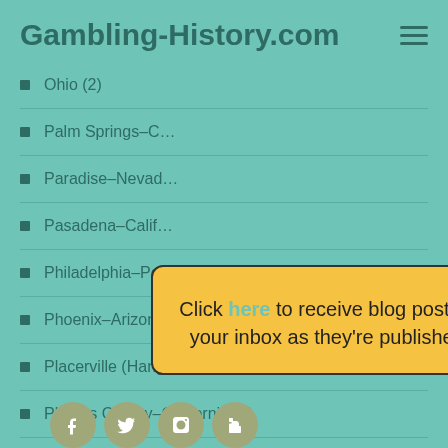Gambling-History.com
Ohio (2)
Palm Springs–C…
Paradise–Neva…
Pasadena–Cali…
Philadelphia–Pennsylvania (1)
Phoenix–Arizona (2)
Placerville (Hangtown)–California (1)
Plumas County–California (1)
[Figure (infographic): Popup modal with yellow background saying 'Click here to receive blog posts in your inbox as they're published.' with a close button.]